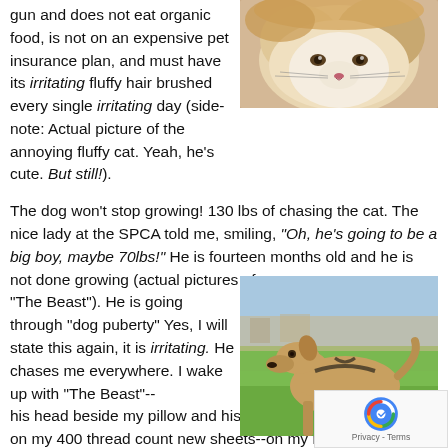gun and does not eat organic food, is not on an expensive pet insurance plan, and must have its irritating fluffy hair brushed every single irritating day (side-note: Actual picture of the annoying fluffy cat. Yeah, he's cute. But still!).
[Figure (photo): Close-up photo of a fluffy long-haired cat, orange and white coloring, looking downward]
The dog won't stop growing! 130 lbs of chasing the cat. The nice lady at the SPCA told me, smiling, "Oh, he's going to be a big boy, maybe 70lbs!" He is fourteen months old and he is not done growing (actual pictures of "The Beast"). He is going through "dog puberty" Yes, I will state this again, it is irritating. He chases me everywhere. I wake up with "The Beast"-- his head beside my pillow and his large mouth spewing drool on my 400 thread count new sheets--on my nice clean bed. Sometimes, sorry for the detail, the cat and the dog decide the bed is the best place to... up when they eat each other's food. I bought him his own
[Figure (photo): Photo of a large Great Dane dog standing on green grass, fawn colored, with a harness, outdoors]